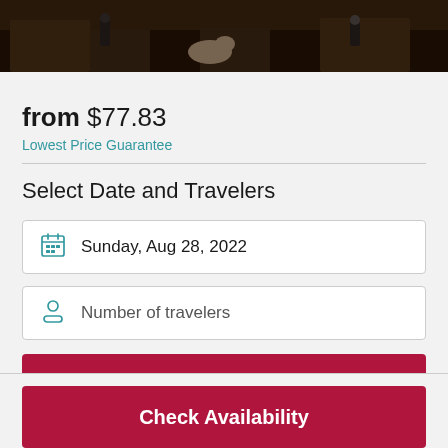[Figure (photo): Photo banner showing animals and ruins with people in the background, dark toned image]
from $77.83
Lowest Price Guarantee
Select Date and Travelers
Sunday, Aug 28, 2022
Number of travelers
Check Availability
Check Availability